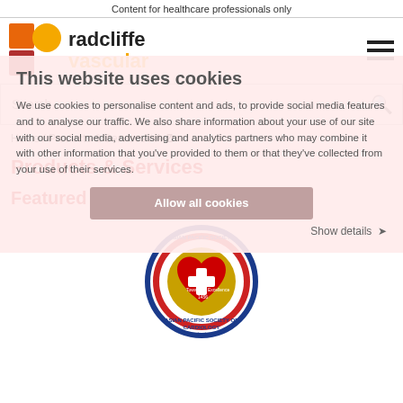Content for healthcare professionals only
[Figure (logo): Radcliffe Vascular logo with orange/red geometric shapes and text]
This website uses cookies
We use cookies to personalise content and ads, to provide social media features and to analyse our traffic. We also share information about your use of our site with our social media, advertising and analytics partners who may combine it with other information that you've provided to them or that they've collected from your use of their services.
Allow all cookies
Show details
Search...
Home / Products & Services / A-Z
Products & Services
Featured
[Figure (logo): Asian Pacific Society of Cardiology circular badge/seal logo with red heart and cross, blue border with stars, text 'Towards Excellence']